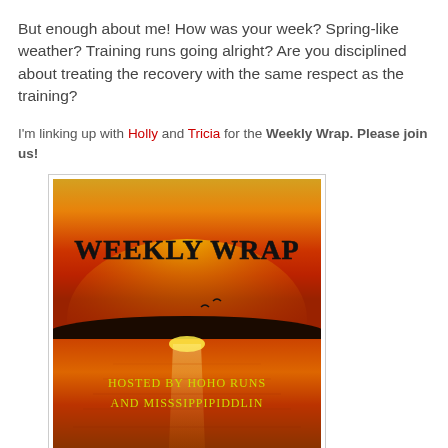But enough about me! How was your week? Spring-like weather? Training runs going alright? Are you disciplined about treating the recovery with the same respect as the training?
I'm linking up with Holly and Tricia for the Weekly Wrap. Please join us!
[Figure (photo): Weekly Wrap logo image: sunset over water with orange/red sky, birds silhouetted. Text reads 'WEEKLY WRAP' in large handwritten script and 'HOSTED BY HOHO RUNS AND MISSSIPPIPIDDLIN' in stylized text at the bottom.]